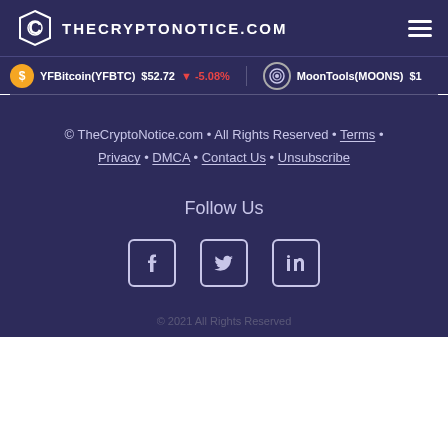THECRYPTONOTICE.COM
YFBitcoin(YFBTC) $52.72 ▼ -5.08%   MoonTools(MOONS) $1...
© TheCryptoNotice.com • All Rights Reserved • Terms • Privacy • DMCA • Contact Us • Unsubscribe
Follow Us
[Figure (other): Social media icons: Facebook, Twitter, LinkedIn]
© 2021 All Rights Reserved